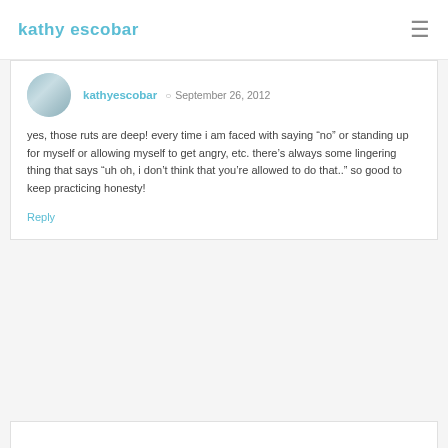kathy escobar
kathyescobar  September 26, 2012

yes, those ruts are deep! every time i am faced with saying “no” or standing up for myself or allowing myself to get angry, etc. there’s always some lingering thing that says “uh oh, i don’t think that you’re allowed to do that..” so good to keep practicing honesty!
Reply